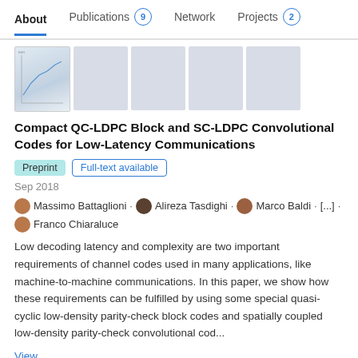About  Publications 9  Network  Projects 2
[Figure (screenshot): Row of five small publication thumbnail images, the first showing a chart/figure, the rest blank gray placeholders.]
Compact QC-LDPC Block and SC-LDPC Convolutional Codes for Low-Latency Communications
Preprint
Full-text available
Sep 2018
Massimo Battaglioni · Alireza Tasdighi · Marco Baldi · [...] · Franco Chiaraluce
Low decoding latency and complexity are two important requirements of channel codes used in many applications, like machine-to-machine communications. In this paper, we show how these requirements can be fulfilled by using some special quasi-cyclic low-density parity-check block codes and spatially coupled low-density parity-check convolutional cod...
View
Compact QC-LDPC Block and SC-LDPC Convolutional